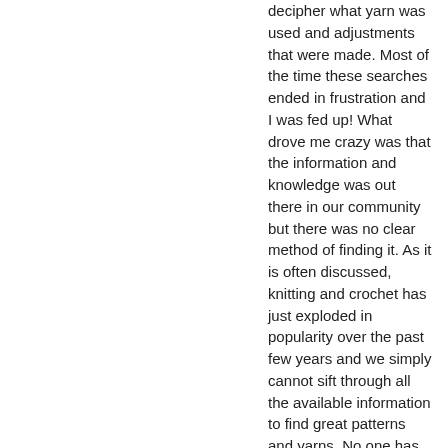decipher what yarn was used and adjustments that were made. Most of the time these searches ended in frustration and I was fed up! What drove me crazy was that the information and knowledge was out there in our community but there was no clear method of finding it. As it is often discussed, knitting and crochet has just exploded in popularity over the past few years and we simply cannot sift through all the available information to find great patterns and yarns. No one has the time to read all the blogs in the world. So, we thought, "Wouldn't it be great if there was a place where you could organize your projects, stash and tools and at the same time help you find people with similar